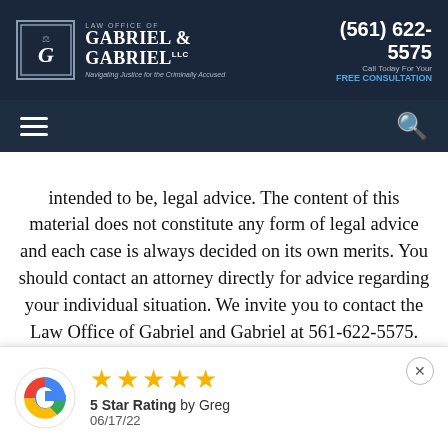LAW OFFICE OF GABRIEL & GABRIEL LLC — Navigating Justice for the Criminally Accused — (561) 622-5575 — Call Today For Your FREE CONSULTATION
intended to be, legal advice. The content of this material does not constitute any form of legal advice and each case is always decided on its own merits. You should contact an attorney directly for advice regarding your individual situation. We invite you to contact the Law Office of Gabriel and Gabriel at 561-622-5575. Contacting us for a free consultation does not create an attorney-client relationship until that relationship has been established by both parties. Please do not send any confidential information to us
[Figure (other): Google review widget showing 5 stars, '5 Star Rating by Greg', dated 06/17/22, with Google 'G' logo and close button]